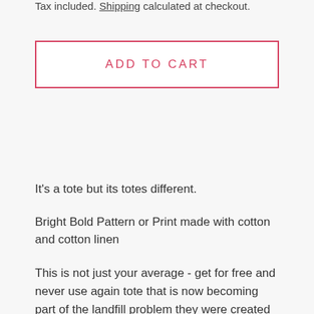Tax included. Shipping calculated at checkout.
ADD TO CART
It's a tote but its totes different.
Bright Bold Pattern or Print made with cotton and cotton linen
This is not just your average - get for free and never use again tote that is now becoming part of the landfill problem they were created to help